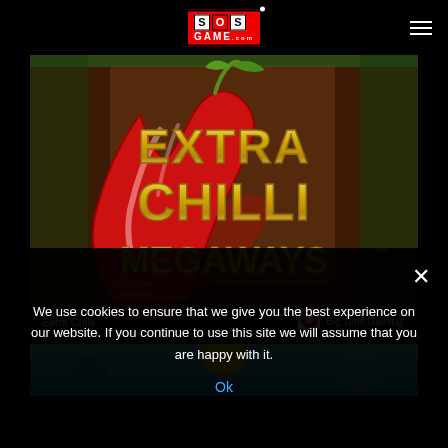[Figure (logo): SOS Game logo in red box with white letter tiles, top-center header]
[Figure (screenshot): Extra Chilli Megaways slot game promotional image with large red chilli pepper and gold stylized text reading EXTRA CHILLI MEGAWAYS. Bottom overlay shows game name 'Extra Chilli' and provider 'Big Time Gaming'.]
[Figure (screenshot): Partial view of a second game with light blue/cyan background, partially visible at bottom of content area.]
We use cookies to ensure that we give you the best experience on our website. If you continue to use this site we will assume that you are happy with it.
Ok